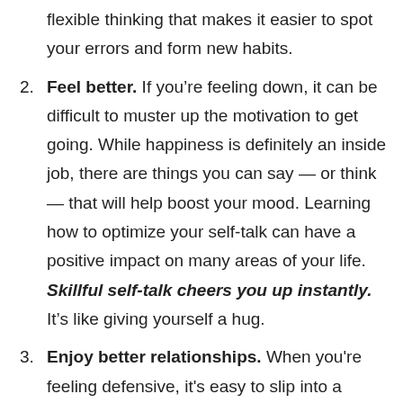flexible thinking that makes it easier to spot your errors and form new habits.
2. Feel better. If you’re feeling down, it can be difficult to muster up the motivation to get going. While happiness is definitely an inside job, there are things you can say — or think — that will help boost your mood. Learning how to optimize your self-talk can have a positive impact on many areas of your life. Skillful self-talk cheers you up instantly. It’s like giving yourself a hug.
3. Enjoy better relationships. When you're feeling defensive, it's easy to slip into a destructive cycle. You can't help but take criticism personally, even when it's meant as constructive input. It's natural to want to defend yourself and your position — after